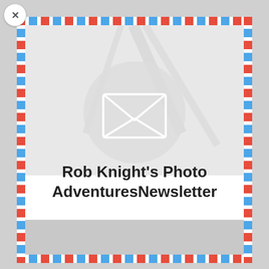[Figure (illustration): Newsletter signup popup with air mail style red and blue dashed border, a circular envelope icon at the top center on a faint background photo, close button (X) at top left, title text, description text, and a gray form area at the bottom.]
Rob Knight's Photo AdventuresNewsletter
Join my mailing list to receive the latest news and updates about upcoming Photography workshops, Trips, and classes.